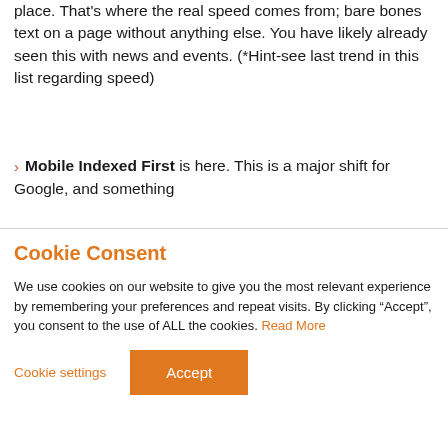place. That's where the real speed comes from; bare bones text on a page without anything else. You have likely already seen this with news and events. (*Hint-see last trend in this list regarding speed)
Mobile Indexed First is here. This is a major shift for Google, and something
Cookie Consent
We use cookies on our website to give you the most relevant experience by remembering your preferences and repeat visits. By clicking “Accept”, you consent to the use of ALL the cookies. Read More
Cookie settings  Accept